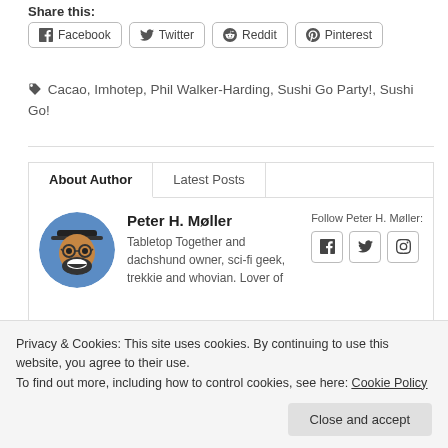Share this:
Facebook | Twitter | Reddit | Pinterest
Cacao, Imhotep, Phil Walker-Harding, Sushi Go Party!, Sushi Go!
About Author | Latest Posts
[Figure (illustration): Circular avatar of Peter H. Møller, a bearded man with glasses and a hat]
Peter H. Møller
Tabletop Together and dachshund owner, sci-fi geek, trekkie and whovian. Lover of
Follow Peter H. Møller: [Facebook] [Twitter] [Instagram]
Privacy & Cookies: This site uses cookies. By continuing to use this website, you agree to their use.
To find out more, including how to control cookies, see here: Cookie Policy
Close and accept